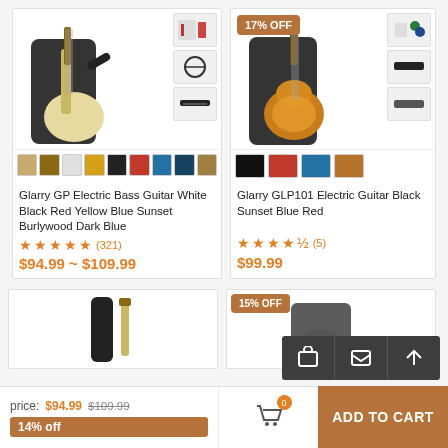[Figure (photo): Glarry GP Electric Bass Guitar product image with accessories thumbnails and color swatches]
Glarry GP Electric Bass Guitar White Black Red Yellow Blue Sunset Burlywood Dark Blue
★★★★★ (321)
$94.99 ~ $109.99
[Figure (photo): Glarry GLP101 Electric Guitar product image with 17% OFF badge, accessories thumbnails and color swatches]
Glarry GLP101 Electric Guitar Black Sunset Blue Red
★★★★½ (5)
$99.99
[Figure (photo): Partial view of a guitar product (bottom left)]
[Figure (photo): Partial view of a guitar product with 15% OFF badge (bottom right)]
price:$94.99 $109.99
14% off
ADD TO CART